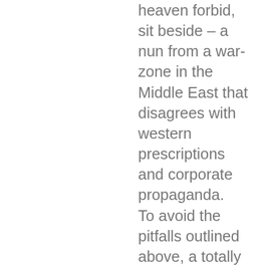heaven forbid, sit beside – a nun from a war-zone in the Middle East that disagrees with western prescriptions and corporate propaganda. To avoid the pitfalls outlined above, a totally new model of journalism is required, a model that is not designed, or even accepted, by the current dominant corporate media class. A model in which writers and journalists have the space and freedom to express their opinions in an open and forthright manner – discarding the charade of objectivity. A model in which publicly oriented media is free from the chains of corporate
We use cookies to optimize our website and our service.
[Figure (photo): Advertisement showing a person applying something to their face/nose area, next to text about mole and skin tag removal]
Doctors Stunned: Mole & Skin Tag Removal
n/a